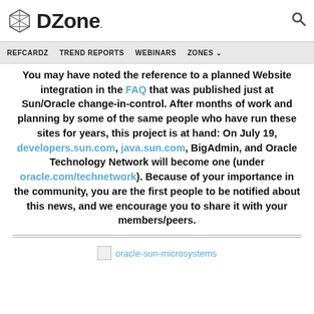DZone. [logo] [search icon]
REFCARDZ  TREND REPORTS  WEBINARS  ZONES
You may have noted the reference to a planned Website integration in the FAQ that was published just at Sun/Oracle change-in-control. After months of work and planning by some of the same people who have run these sites for years, this project is at hand: On July 19, developers.sun.com, java.sun.com, BigAdmin, and Oracle Technology Network will become one (under oracle.com/technetwork). Because of your importance in the community, you are the first people to be notified about this news, and we encourage you to share it with your members/peers.
[Figure (photo): Broken image placeholder labeled oracle-sun-microsystems]